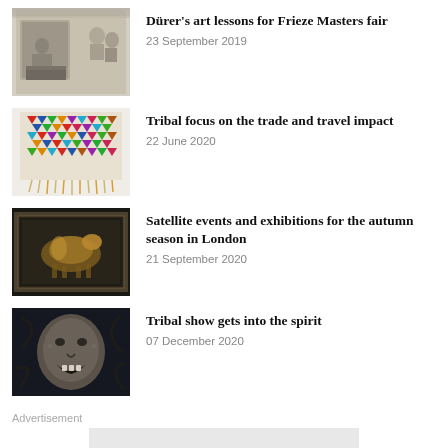[Figure (photo): Old etching/engraving showing a person at a desk with architectural elements]
Dürer's art lessons for Frieze Masters fair
23 September 2019
[Figure (photo): Colorful tribal/folk textile or beaded garment with geometric patterns]
Tribal focus on the trade and travel impact
22 June 2020
[Figure (photo): Framed artwork of a horse in dark atmospheric painting]
Satellite events and exhibitions for the autumn season in London
21 September 2020
[Figure (photo): Tribal mask or sculpture with open mouth, dark background]
Tribal show gets into the spirit
07 December 2020
Advertisement
Want the lot?